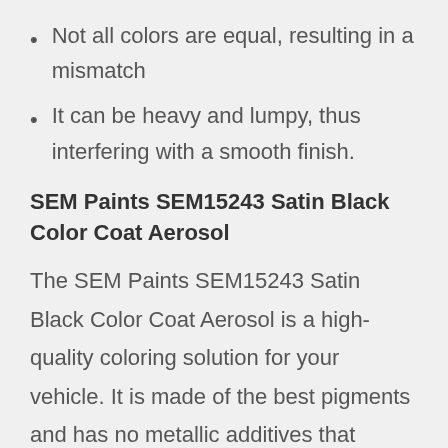Not all colors are equal, resulting in a mismatch
It can be heavy and lumpy, thus interfering with a smooth finish.
SEM Paints SEM15243 Satin Black Color Coat Aerosol
The SEM Paints SEM15243 Satin Black Color Coat Aerosol is a high-quality coloring solution for your vehicle. It is made of the best pigments and has no metallic additives that